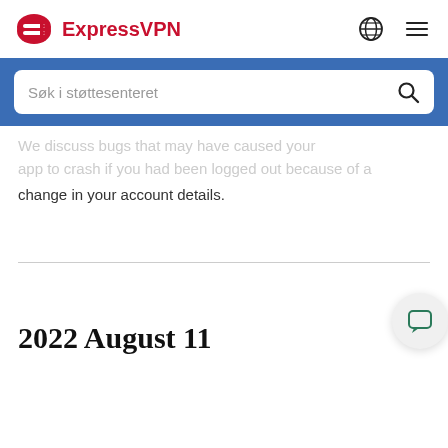ExpressVPN
Søk i støttesenteret
…We discuss bugs that may have caused your app to crash if you had been logged out because of a change in your account details.
2022 August 11